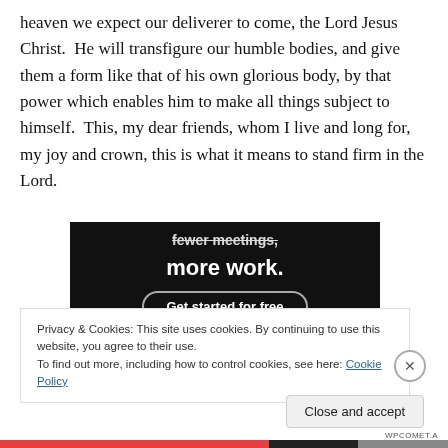heaven we expect our deliverer to come, the Lord Jesus Christ.  He will transfigure our humble bodies, and give them a form like that of his own glorious body, by that power which enables him to make all things subject to himself.  This, my dear friends, whom I live and long for, my joy and crown, this is what it means to stand firm in the Lord.
[Figure (other): Dark advertisement banner with white bold text reading 'more work.' and a 'Get started for free' button with rounded border]
Privacy & Cookies: This site uses cookies. By continuing to use this website, you agree to their use.
To find out more, including how to control cookies, see here: Cookie Policy
Close and accept